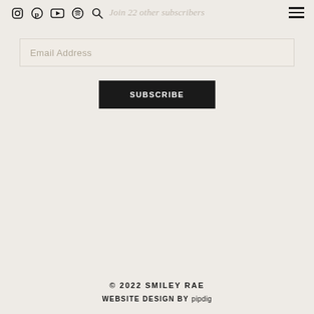Icons: Instagram, Pinterest, YouTube, Spotify, Search | Join 22 other subscribers | Hamburger menu
Join 22 other subscribers
Email Address
SUBSCRIBE
© 2022 SMILEY RAE
WEBSITE DESIGN BY pipdig